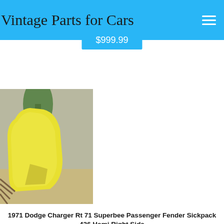Vintage Parts for Cars
$999.99
[Figure (photo): Photograph of a yellow car fender (passenger side) leaning against a wooden surface outdoors with trees in background]
1971 Dodge Charger Rt 71 Superbee Passenger Fender Sickpack 426 Hemi Right Side
1971 Dodge Charger Rt 71 Superbee Passenger Fender Sickpack 426 He...